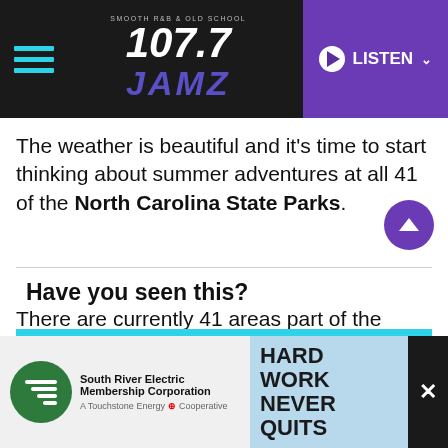107.7 JAMZ — LISTEN
The weather is beautiful and it's time to start thinking about summer adventures at all 41 of the North Carolina State Parks.
There are currently 41 areas part of the NC State Parks system, including 34 parks, four recreation areas, and three state natural areas, according to NC Parks.
Have you seen this?
[Figure (other): South River Electric Membership Corporation advertisement — HARD WORK NEVER QUITS]
South River Electric Membership Corporation — HARD WORK NEVER QUITS